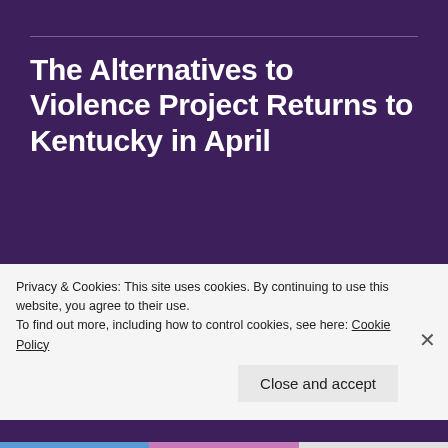The Alternatives to Violence Project Returns to Kentucky in April
AUGUST 1, 2015 / LEAVE A COMMENT
In April, AVP Indiana was invited to Berea, Kentucky to facilitate a Basic (1st level) AVP workshop.  One of our original group of apprentice facilitators is a Kentucky native and has been working for the last several years to
Privacy & Cookies: This site uses cookies. By continuing to use this website, you agree to their use.
To find out more, including how to control cookies, see here: Cookie Policy
Close and accept